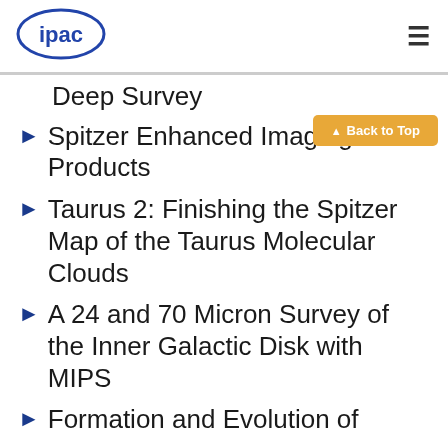[Figure (logo): IPAC logo - blue oval with 'ipac' text in white]
Deep Survey
Spitzer Enhanced Imaging Products
Taurus 2: Finishing the Spitzer Map of the Taurus Molecular Clouds
A 24 and 70 Micron Survey of the Inner Galactic Disk with MIPS
Formation and Evolution of